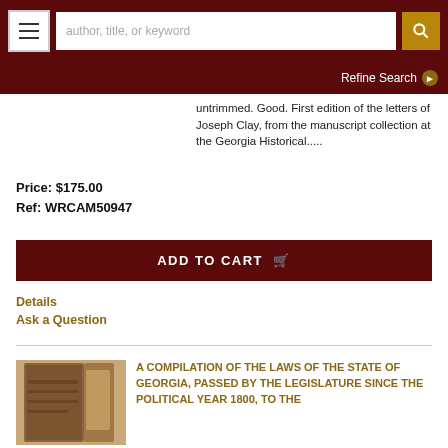[Figure (screenshot): Navigation bar with hamburger menu, search input field with placeholder 'author, title, or keyword', and search button]
Refine Search ▶
untrimmed. Good. First edition of the letters of Joseph Clay, from the manuscript collection at the Georgia Historical.....
Price: $175.00
Ref: WRCAM50947
ADD TO CART
Details
Ask a Question
A COMPILATION OF THE LAWS OF THE STATE OF GEORGIA, PASSED BY THE LEGISLATURE SINCE THE POLITICAL YEAR 1800, TO THE